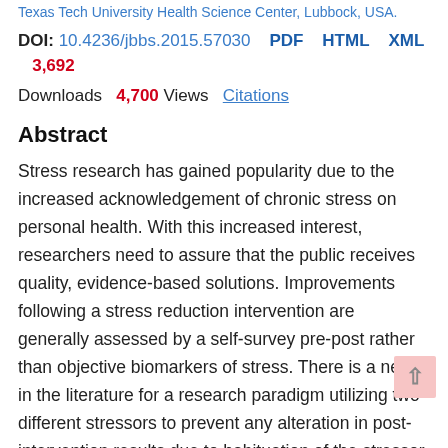Texas Tech University Health Science Center, Lubbock, USA.
DOI: 10.4236/jbbs.2015.57030  PDF  HTML  XML  3,692
Downloads  4,700 Views  Citations
Abstract
Stress research has gained popularity due to the increased acknowledgement of chronic stress on personal health. With this increased interest, researchers need to assure that the public receives quality, evidence-based solutions. Improvements following a stress reduction intervention are generally assessed by a self-survey pre-post rather than objective biomarkers of stress. There is a need in the literature for a research paradigm utilizing two different stressors to prevent any alteration in post-intervention results due to habituation of the stressor. The Trier Social Stress Test (TSST) and the Beilock Stress Test (BST) are two different stress protocols published in the literature. The present study has three objectives: 1) to compare the efficacy of two different